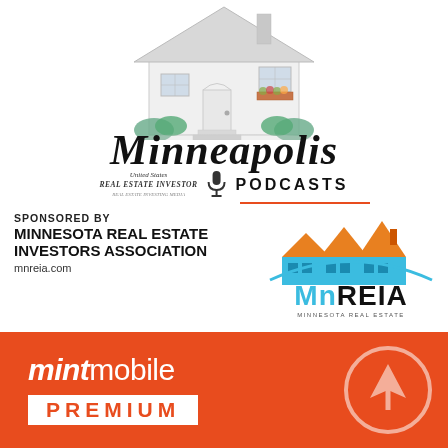[Figure (logo): Illustration of a white residential house with gray roof, front door, windows, flower box, bushes, and front steps]
Minneapolis
[Figure (logo): United States Real Estate Investor logo with microphone icon and PODCASTS text]
SPONSORED BY
MINNESOTA REAL ESTATE INVESTORS ASSOCIATION
mnreia.com
[Figure (logo): MnREIA logo - Minnesota Real Estate Investors Association with house graphic in orange and blue]
[Figure (logo): Mint Mobile advertisement banner with orange background showing mint mobile logo and PREMIUM text]